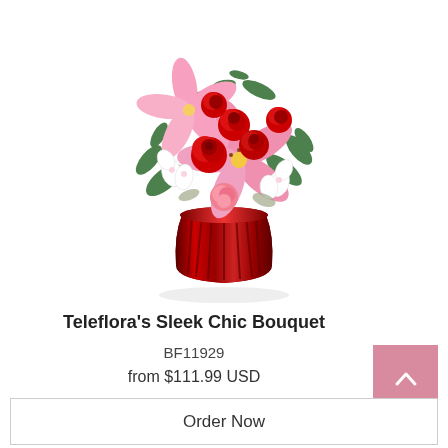[Figure (photo): Teleflora's Sleek Chic Bouquet product photo: pink lilies, red roses, white alstromeria in a red ribbed glass vase]
Teleflora's Sleek Chic Bouquet
BF11929
from $111.99 USD
Order Now
[Figure (photo): Partial view of a second floral arrangement with pink and white flowers]